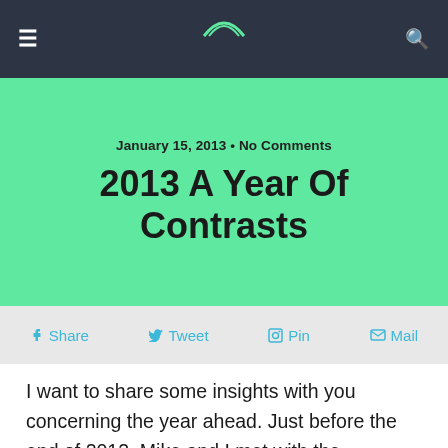≡  [logo]  🔍
January 15, 2013 • No Comments
2013 A Year Of Contrasts
f Share   Tweet   Pin   Mail
I want to share some insights with you concerning the year ahead. Just before the end of 2012, Mike and I met with the Apostolic Council of Prophetic Elders to seek the voice of God and discuss with each other what God has been saying to the church about 2013. Through this special video, we will share with you what the prophets have spoken – "The Word of the Lord for 2013." Please